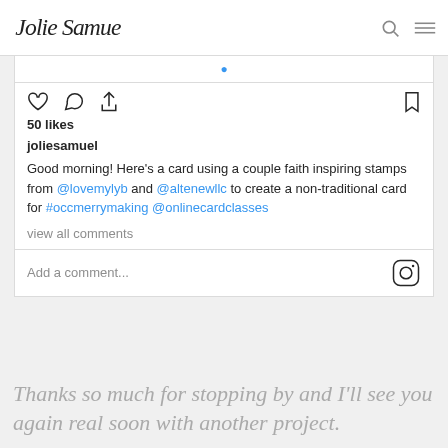Jolie Samuel
50 likes
joliesamuel
Good morning! Here's a card using a couple faith inspiring stamps from @lovemylyb and @altenewllc to create a non-traditional card for #occmerrymaking @onlinecardclasses
view all comments
Add a comment...
Thanks so much for stopping by and I'll see you again real soon with another project.